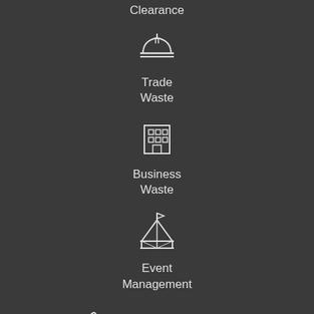Clearance
[Figure (illustration): Hard hat / safety helmet icon in white outline]
Trade
Waste
[Figure (illustration): Office building / grid window icon in white outline]
Business
Waste
[Figure (illustration): Event tent / marquee with flag icon in white outline]
Event
Management
0800 4101086
[Figure (illustration): Social media icons: Facebook, Twitter, LinkedIn, YouTube]